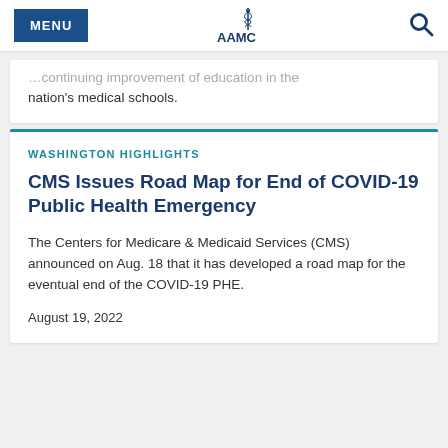MENU | AAMC | Search
...continuing improvement of education in the nation's medical schools.
WASHINGTON HIGHLIGHTS
CMS Issues Road Map for End of COVID-19 Public Health Emergency
The Centers for Medicare & Medicaid Services (CMS) announced on Aug. 18 that it has developed a road map for the eventual end of the COVID-19 PHE.
August 19, 2022